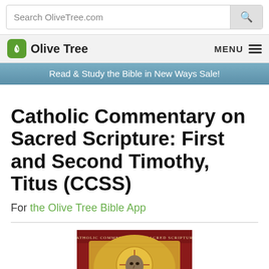Search OliveTree.com
Olive Tree   MENU
Read & Study the Bible in New Ways Sale!
Catholic Commentary on Sacred Scripture: First and Second Timothy, Titus (CCSS)
For the Olive Tree Bible App
[Figure (photo): Book cover of Catholic Commentary on Sacred Scripture, showing a mosaic of Christ Pantocrator with gold background and halo, set against a dark red banner with the series title.]